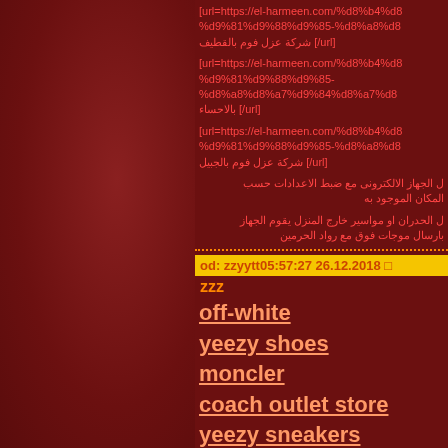[url=https://el-harmeen.com/%d8%b4%d8... %d9%81%d9%88%d9%85-%d8%a8%d8... شركة عزل فوم بالقطيف [/url]
[url=https://el-harmeen.com/%d8%b4%d8... %d9%81%d9%88%d9%85- %d8%a8%d8%a7%d9%84%d8%a7%d8... بالاحساء [/url]
[url=https://el-harmeen.com/%d8%b4%d8... %d9%81%d9%88%d9%85-%d8%a8%d8... شركة عزل فوم بالجبيل [/url]
ل الجهاز الالكترونى مع ضبط الاعدادات حسب المكان الموجود به
ل الحدران او مواسير خارج المنزل يقوم الجهاز بارسال موجات فوق مع رواد الحرمين
od: zzyytt05:57:27 26.12.2018 □
zzz
off-white
yeezy shoes
moncler
coach outlet store
yeezy sneakers